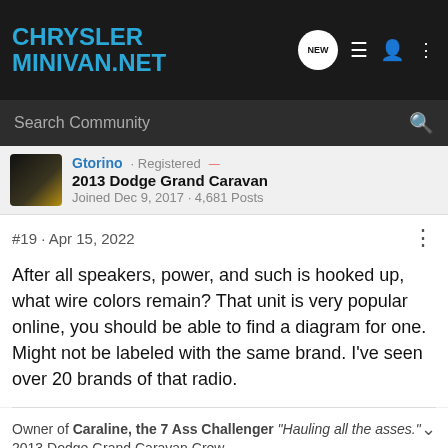CHRYSLER MINIVAN.NET
Search Community
Gtorino · Registered
2013 Dodge Grand Caravan
Joined Dec 9, 2017 · 4,681 Posts
#19 · Apr 15, 2022
After all speakers, power, and such is hooked up, what wire colors remain? That unit is very popular online, you should be able to find a diagram for one. Might not be labeled with the same brand. I've seen over 20 brands of that radio.
Owner of Caraline, the 7 Ass Challenger "Hauling all the asses."
2013 Dodge Grand Caravan Crew
[Figure (screenshot): Vengeance movie advertisement banner: 'IN THEATERS AND ON DEMAND NOW WATCH NOW']